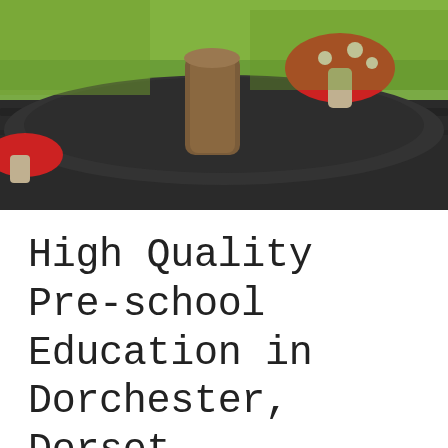[Figure (photo): Outdoor playground area with red mushroom-shaped seats, a wooden log/stump, dark rubber mulch ground cover, and green grass in the background.]
High Quality Pre-school Education in Dorchester, Dorset.
Dorchester Community Nursery School offers high quality pre-school education in a